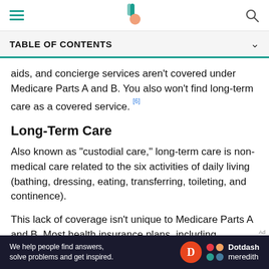TABLE OF CONTENTS
aids, and concierge services aren't covered under Medicare Parts A and B. You also won't find long-term care as a covered service. [6]
Long-Term Care
Also known as "custodial care," long-term care is non-medical care related to the six activities of daily living (bathing, dressing, eating, transferring, toileting, and continence).
This lack of coverage isn't unique to Medicare Parts A and B. Most health insurance plans, including Medigap
[Figure (other): Dotdash Meredith advertisement banner with white text on dark background: 'We help people find answers, solve problems and get inspired.' with Dotdash Meredith logo]